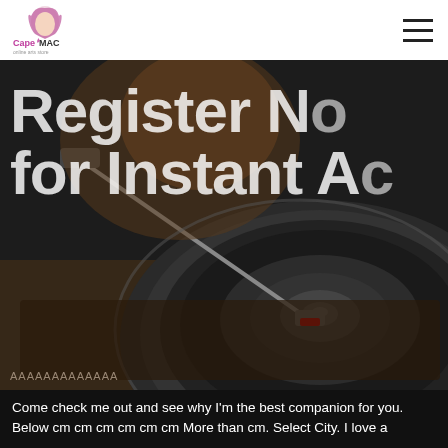CapeMAC — navigation bar with logo and hamburger menu
[Figure (photo): Dark background photo of a vinyl record turntable with tonearm close-up, with large white overlaid text reading 'Register No for Instant Ac' (truncated). Watermark text visible at bottom left of image.]
Register No for Instant Ac
Come check me out and see why I'm the best companion for you. Below cm cm cm cm cm cm More than cm. Select City. I love a